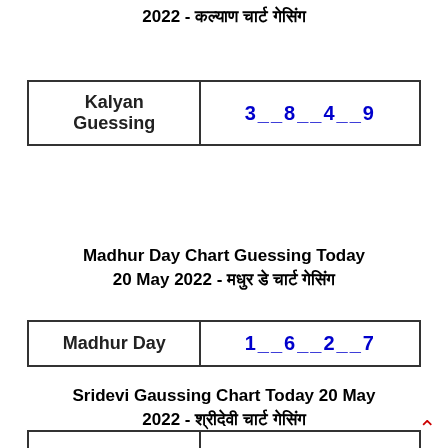2022 - कल्याण चार्ट गेसिंग
| Kalyan Guessing | 3__8__4__9 |
| --- | --- |
Madhur Day Chart Guessing Today 20 May 2022 - मधुर डे चार्ट गेसिंग
| Madhur Day | 1__6__2__7 |
| --- | --- |
Sridevi Gaussing Chart Today 20 May 2022 - श्रीदेवी चार्ट गेसिंग